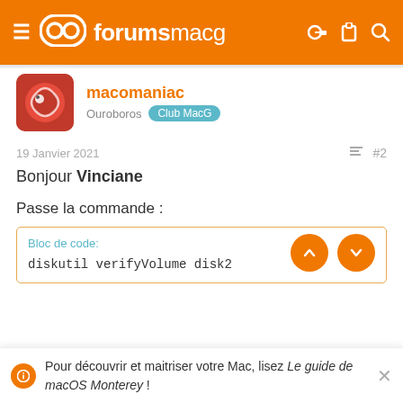forumsmacg
macomaniac
Ouroboros  Club MacG
19 Janvier 2021  #2
Bonjour Vinciane
Passe la commande :
Bloc de code:
diskutil verifyVolume disk2
Pour découvrir et maitriser votre Mac, lisez Le guide de macOS Monterey !